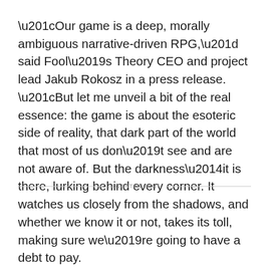“Our game is a deep, morally ambiguous narrative-driven RPG,” said Fool’s Theory CEO and project lead Jakub Rokosz in a press release. “But let me unveil a bit of the real essence: the game is about the esoteric side of reality, that dark part of the world that most of us don’t see and are not aware of. But the darkness—it is there, lurking behind every corner. It watches us closely from the shadows, and whether we know it or not, takes its toll, making sure we’re going to have a debt to pay.
ADVERTISEMENT